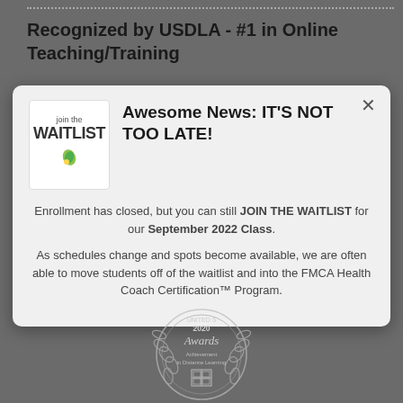Recognized by USDLA - #1 in Online Teaching/Training
[Figure (screenshot): Modal popup with waitlist logo showing 'join the WAITLIST' text and a leaf icon, with headline 'Awesome News: IT'S NOT TOO LATE!' and body text about enrollment and joining waitlist for September 2022 Class]
Enrollment has closed, but you can still JOIN THE WAITLIST for our September 2022 Class.
As schedules change and spots become available, we are often able to move students off of the waitlist and into the FMCA Health Coach Certification™ Program.
[Figure (logo): 2020 United States Distance Learning Association (USDLA) Awards - Achievement in Distance Learning badge/medallion]